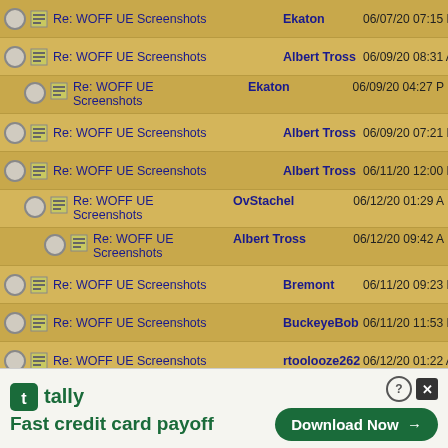Re: WOFF UE Screenshots | Ekaton | 06/07/20 07:15 P
Re: WOFF UE Screenshots | Albert Tross | 06/09/20 08:31 A
Re: WOFF UE Screenshots | Ekaton | 06/09/20 04:27 P
Re: WOFF UE Screenshots | Albert Tross | 06/09/20 07:21 P
Re: WOFF UE Screenshots | Albert Tross | 06/11/20 12:00 P
Re: WOFF UE Screenshots | OvStachel | 06/12/20 01:29 A
Re: WOFF UE Screenshots | Albert Tross | 06/12/20 09:42 A
Re: WOFF UE Screenshots | Bremont | 06/11/20 09:23 P
Re: WOFF UE Screenshots | BuckeyeBob | 06/11/20 11:53 P
Re: WOFF UE Screenshots | rtoolooze262 | 06/12/20 01:22 A
Re: WOFF UE Screenshots | Wodin | 06/13/20 01:25 A
[Figure (screenshot): Tally advertisement banner: 'Fast credit card payoff' with Download Now button]